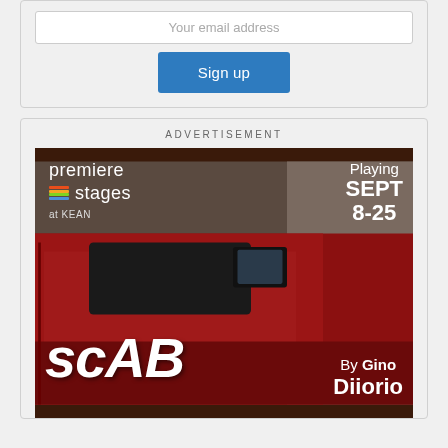Your email address
Sign up
ADVERTISEMENT
[Figure (photo): Advertisement for Premiere Stages at Kean production of 'SCAB' by Gino Diiorio, playing September 8-25. Image shows a red car with the word SCAB written in white paint-style lettering.]